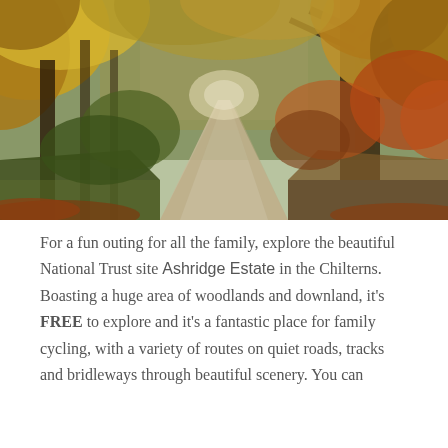[Figure (photo): Autumn woodland path with golden and orange foliage on trees arching over a quiet country road, perspective leading into the distance. National Trust Ashridge Estate in the Chilterns.]
For a fun outing for all the family, explore the beautiful National Trust site Ashridge Estate in the Chilterns. Boasting a huge area of woodlands and downland, it's FREE to explore and it's a fantastic place for family cycling, with a variety of routes on quiet roads, tracks and bridleways through beautiful scenery. You can